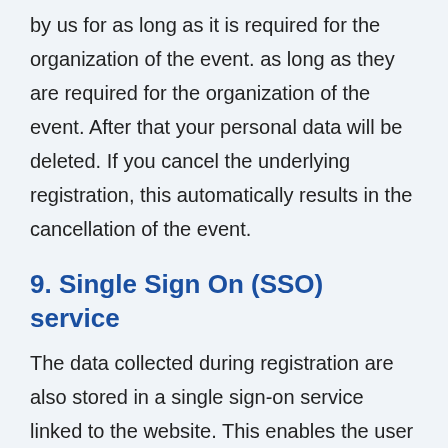by us for as long as it is required for the organization of the event. as long as they are required for the organization of the event. After that your personal data will be deleted. If you cancel the underlying registration, this automatically results in the cancellation of the event.
9. Single Sign On (SSO) service
The data collected during registration are also stored in a single sign-on service linked to the website. This enables the user to authenticate oneself to further services offered by the PMD.